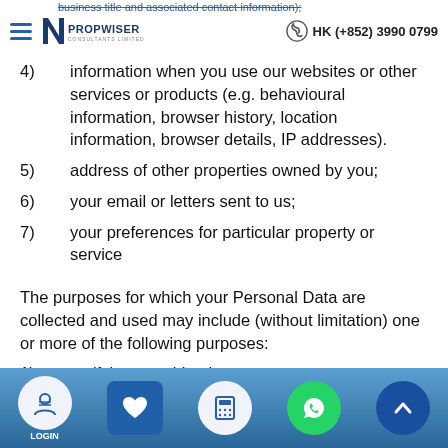business title and associated contact information) | HK (+852) 3990 0799
4)	information when you use our websites or other services or products (e.g. behavioural information, browser history, location information, browser details, IP addresses).
5)	address of other properties owned by you;
6)	your email or letters sent to us;
7)	your preferences for particular property or service
The purposes for which your Personal Data are collected and used may include (without limitation) one or more of the following purposes:
1)	verifying your identity
2)	handling your enquiries and keeping you updated
LOGIN | [favorites] | [calculator] | [WhatsApp] | [scroll up]